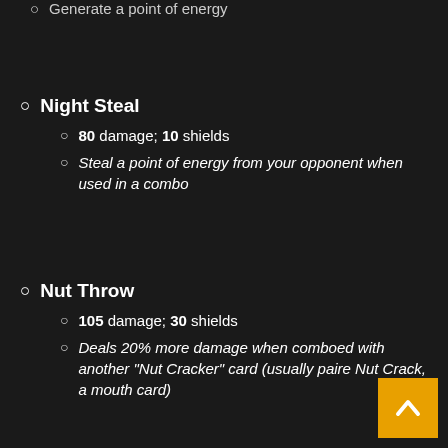Generate a point of energy
Night Steal
80 damage; 10 shields
Steal a point of energy from your opponent when used in a combo
Nut Throw
105 damage; 30 shields
Deals 20% more damage when comboed with another "Nut Cracker" card (usually paired Nut Crack, a mouth card)